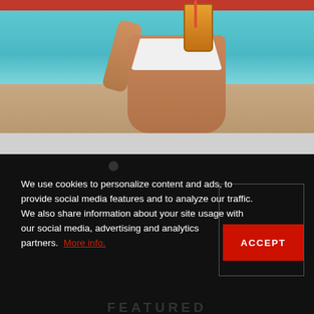[Figure (photo): Woman in white bikini holding an orange drink by a pool with teal/turquoise water. Red background at top. Photo cropped to show torso only.]
We use cookies to personalize content and ads, to provide social media features and to analyze our traffic. We also share information about your site usage with our social media, advertising and analytics partners. More info.
FEATURED